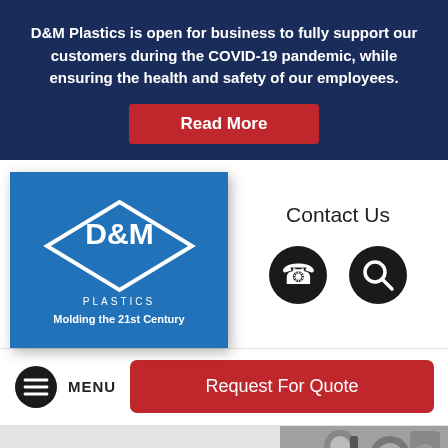D&M Plastics is open for business to fully support our customers during the COVID-19 pandemic, while ensuring the health and safety of our employees.
Read More
[Figure (logo): D&M Plastics logo: white diamond shape with D&M text inside on blue background, PLASTICS lettering below, tagline Molding the 21st Century]
Contact Us
[Figure (infographic): Phone icon (rotary phone in circle) and Search icon (magnifying glass in circle)]
MENU
Request For Quote
[Figure (photo): Black and white photo of industrial machinery parts/components, partially visible at bottom right]